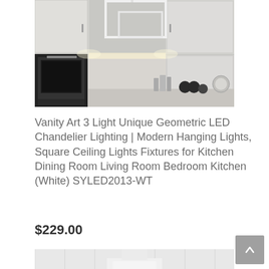[Figure (photo): Modern kitchen with geometric LED chandelier hanging from ceiling, white/grey kitchen cabinets, black oven, silver fixtures and accessories on counter]
Vanity Art 3 Light Unique Geometric LED Chandelier Lighting | Modern Hanging Lights, Square Ceiling Lights Fixtures for Kitchen Dining Room Living Room Bedroom Kitchen (White) SYLED2013-WT
$229.00
[Figure (photo): Partial view of a white light fixture against a white paneled wall background]